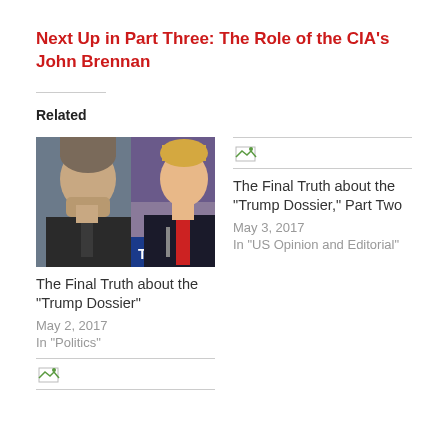Next Up in Part Three: The Role of the CIA's John Brennan
Related
[Figure (photo): Composite photo of James Comey and Donald Trump at a podium with a red tie and TRUMP sign]
The Final Truth about the "Trump Dossier"
May 2, 2017
In "Politics"
[Figure (photo): Broken/placeholder image icon with horizontal lines above and below]
The Final Truth about the "Trump Dossier," Part Two
May 3, 2017
In "US Opinion and Editorial"
[Figure (photo): Broken/placeholder image icon with horizontal lines above and below]